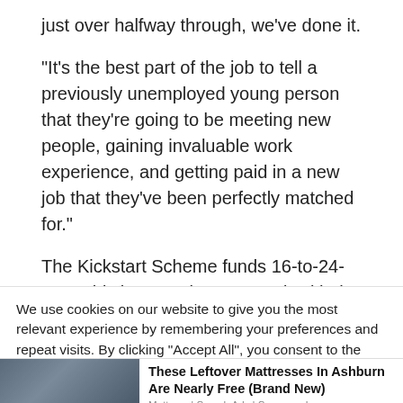just over halfway through, we've done it.
“It’s the best part of the job to tell a previously unemployed young person that they’re going to be meeting new people, gaining invaluable work experience, and getting paid in a new job that they’ve been perfectly matched for.”
The Kickstart Scheme funds 16-to-24-year-olds into employment and, with the help of providers such as I
We use cookies on our website to give you the most relevant experience by remembering your preferences and repeat visits. By clicking “Accept All”, you consent to the use of ALL the cookies. However, you may visit “Cookie Settings” to provide a controlled consent.
[Figure (photo): Two people sitting on a bed — advertisement image for mattress brand]
These Leftover Mattresses In Ashburn Are Nearly Free (Brand New)
Mattress | Search Ads | Sponsored